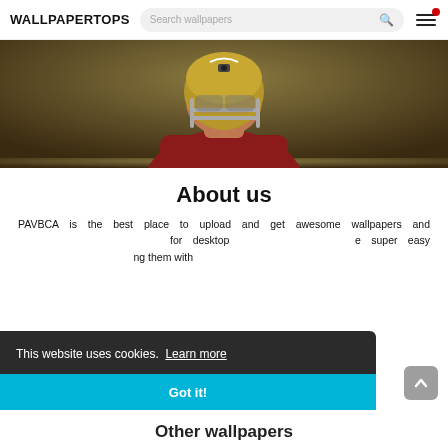WALLPAPERTOPS
[Figure (photo): Football player wearing a gold helmet with visor, red jersey, close-up portrait against dark olive/brown background]
About us
PAVBCA is the best place to upload and get awesome wallpapers and ... for desktop ... super easy ... them with
This website uses cookies. Learn more
Got it!
Other wallpapers